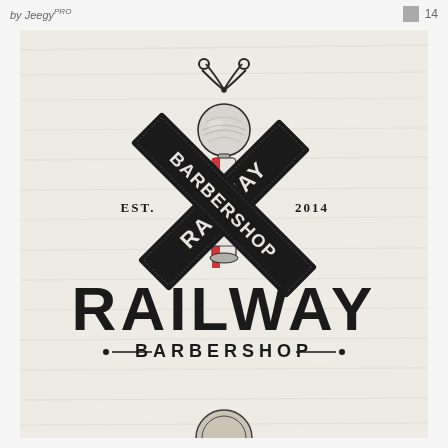by Jeegy | 14
[Figure (logo): Railway Barbershop vintage logo featuring a barber pole with red and blue stripes, crossed diagonal banner signs reading RAILWAY BARBERSHOP, scissors at top, EST. 2014 text on sides, large bold text RAILWAY below, and BARBERSHOP in smaller caps with decorative lines]